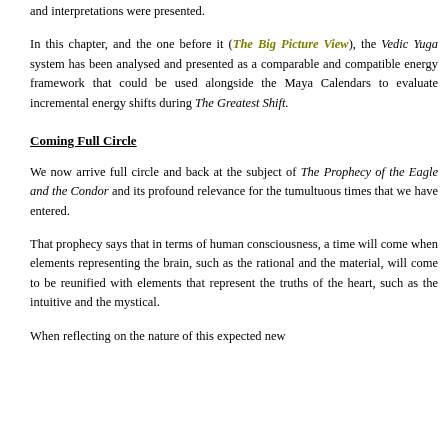and interpretations were presented.
In this chapter, and the one before it (The Big Picture View), the Vedic Yuga system has been analysed and presented as a comparable and compatible energy framework that could be used alongside the Maya Calendars to evaluate incremental energy shifts during The Greatest Shift.
Coming Full Circle
We now arrive full circle and back at the subject of The Prophecy of the Eagle and the Condor and its profound relevance for the tumultuous times that we have entered.
That prophecy says that in terms of human consciousness, a time will come when elements representing the brain, such as the rational and the material, will come to be reunified with elements that represent the truths of the heart, such as the intuitive and the mystical.
When reflecting on the nature of this expected new